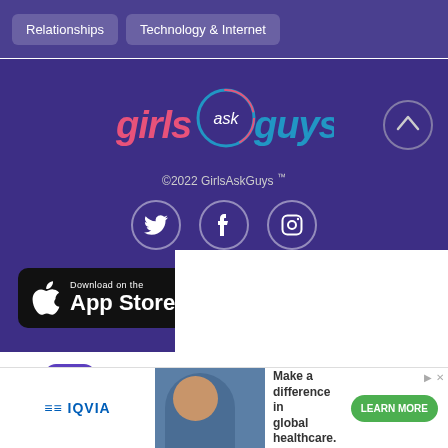Relationships
Technology & Internet
[Figure (logo): GirlsAskGuys logo with pink 'girls' text, white 'ask' in circle, blue 'guys' text]
©2022 GirlsAskGuys ™
[Figure (infographic): Social media icons: Twitter bird, Facebook f, Instagram camera - in circular outlines]
[Figure (infographic): Download on the App Store button (partially visible, cut off by white overlay)]
[Figure (infographic): Android app partial button with purple icon visible]
[Figure (screenshot): IQVIA advertisement: 'Make a difference in global healthcare. LEARN MORE' with woman's photo]